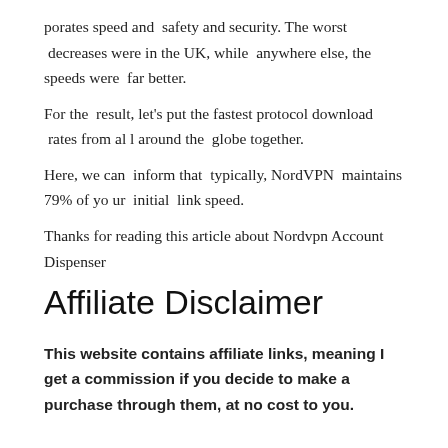porates speed and safety and security. The worst decreases were in the UK, while anywhere else, the speeds were far better.
For the result, let's put the fastest protocol download rates from all around the globe together.
Here, we can inform that typically, NordVPN maintains 79% of your initial link speed.
Thanks for reading this article about Nordvpn Account Dispenser
Affiliate Disclaimer
This website contains affiliate links, meaning I get a commission if you decide to make a purchase through them, at no cost to you.